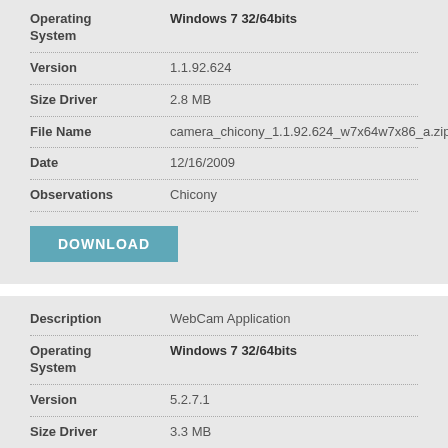| Field | Value |
| --- | --- |
| Operating System | Windows 7 32/64bits |
| Version | 1.1.92.624 |
| Size Driver | 2.8 MB |
| File Name | camera_chicony_1.1.92.624_w7x64w7x86_a.zip |
| Date | 12/16/2009 |
| Observations | Chicony |
DOWNLOAD
| Field | Value |
| --- | --- |
| Description | WebCam Application |
| Operating System | Windows 7 32/64bits |
| Version | 5.2.7.1 |
| Size Driver | 3.3 MB |
| File Name | camera_suyin_5.2.7.1_w7x64w7x86_a.zip |